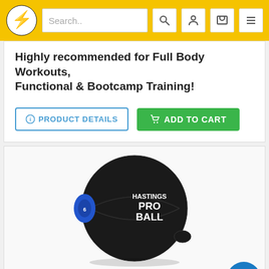[Figure (screenshot): Yellow navigation bar with circular logo showing stylized 'H' letter, search box with 'Search..' placeholder, and icon buttons for search, account, cart, and menu]
Highly recommended for Full Body Workouts, Functional & Bootcamp Training!
[Figure (photo): Hastings Pro Ball dual grip medicine ball, black with blue handle grips and 'HASTINGS PRO BALL' text on the side]
Hastings Dual Grip Medicine Ball 9 kg  €69,95 €